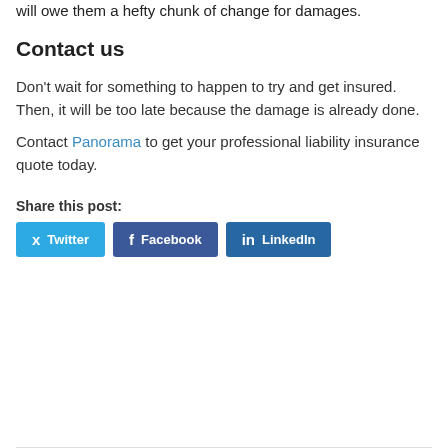will owe them a hefty chunk of change for damages.
Contact us
Don't wait for something to happen to try and get insured. Then, it will be too late because the damage is already done.
Contact Panorama to get your professional liability insurance quote today.
Share this post:
[Figure (other): Social share buttons: Twitter, Facebook, LinkedIn]